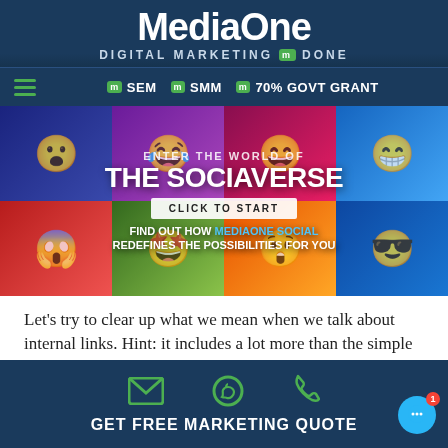MediaOne - DIGITAL MARKETING m DONE
[Figure (screenshot): MediaOne website navigation bar with hamburger menu, SEM, SMM, 70% GOVT GRANT links]
[Figure (infographic): THE SOCIAVERSE hero banner with colorful pop-art style faces grid, CLICK TO START button, and text: FIND OUT HOW MEDIAONE SOCIAL REDEFINES THE POSSIBILITIES FOR YOU]
Let's try to clear up what we mean when we talk about internal links. Hint: it includes a lot more than the simple act of linking from one blog post to another.
GET FREE MARKETING QUOTE